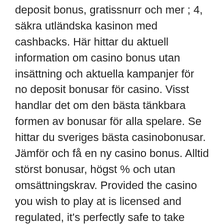deposit bonus, gratissnurr och mer ; 4, säkra utländska kasinon med cashbacks. Här hittar du aktuell information om casino bonus utan insättning och aktuella kampanjer för no deposit bonusar för casino. Visst handlar det om den bästa tänkbara formen av bonusar för alla spelare. Se hittar du sveriges bästa casinobonusar. Jämför och få en ny casino bonus. Alltid störst bonusar, högst % och utan omsättningskrav. Provided the casino you wish to play at is licensed and regulated, it's perfectly safe to take advantage of their no deposit bonus. Bästa casino bonus utan insättning. När man börjar att spela på casino så kan det kännas som en helt ny värld med. Bonusar till nya spelare är vanliga hos både casinon och bettingbolag. Ja, faktiskt så vanliga att de, åtminstone inom online casino,